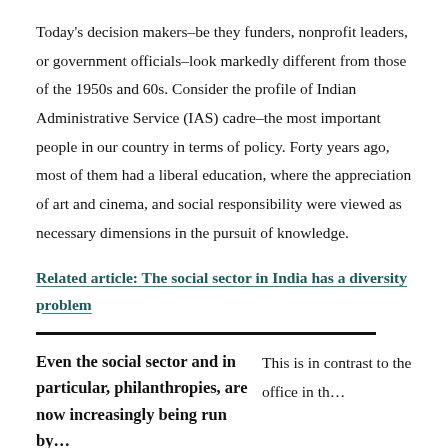Today's decision makers–be they funders, nonprofit leaders, or government officials–look markedly different from those of the 1950s and 60s. Consider the profile of Indian Administrative Service (IAS) cadre–the most important people in our country in terms of policy. Forty years ago, most of them had a liberal education, where the appreciation of art and cinema, and social responsibility were viewed as necessary dimensions in the pursuit of knowledge.
Related article: The social sector in India has a diversity problem
Even the social sector and in particular, philanthropies, are now increasingly being run by...
This is in contrast to the office in th...